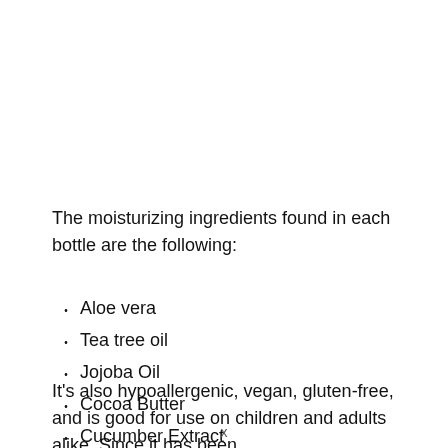The moisturizing ingredients found in each bottle are the following:
Aloe vera
Tea tree oil
Jojoba Oil
Cocoa Butter
Cucumber Extract
Vitamin E
It's also hypoallergenic, vegan, gluten-free, and is good for use on children and adults alike. Since it has been
x